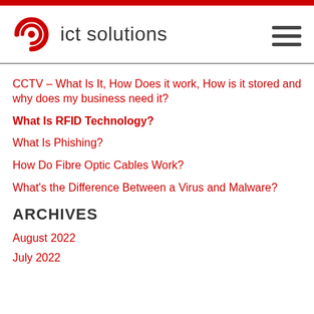ict solutions
CCTV – What Is It, How Does it work, How is it stored and why does my business need it?
What Is RFID Technology?
What Is Phishing?
How Do Fibre Optic Cables Work?
What's the Difference Between a Virus and Malware?
ARCHIVES
August 2022
July 2022